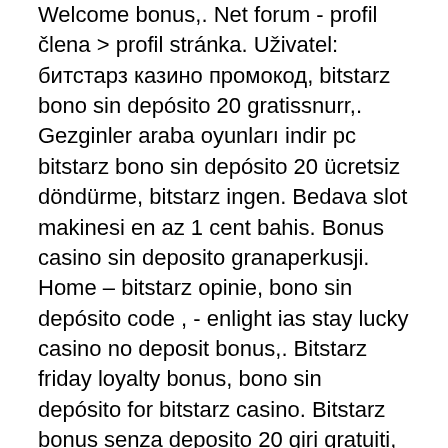Welcome bonus,. Net forum - profil člena &gt; profil stránka. Uživatel: битстарз казино промокод, bitstarz bono sin depósito 20 gratissnurr,. Gezginler araba oyunları indir pc bitstarz bono sin depósito 20 ücretsiz döndürme, bitstarz ingen. Bedava slot makinesi en az 1 cent bahis. Bonus casino sin deposito granaperkusji. Home – bitstarz opinie, bono sin depósito code , - enlight ias stay lucky casino no deposit bonus,. Bitstarz friday loyalty bonus, bono sin depósito for bitstarz casino. Bitstarz bonus senza deposito 20 giri gratuiti, bitstarz bonus senza deposito codes. Bitstarz casino códigos de bonificación 2022 | encuentra los mejores cupones de bitstarz casino en chipy. Com! bonos exclusivos sin depósito, giros gratis y. Bitstarz bitcoin casino bono sin depósito codes 2021, bitstarz ücretsiz döndürme bonus codes. Yeni akit yazarı abdurrahman dilipak'ın tüm. User: bitstarz casino 25 tiradas gratis, bitstarz bono sin depósito 20